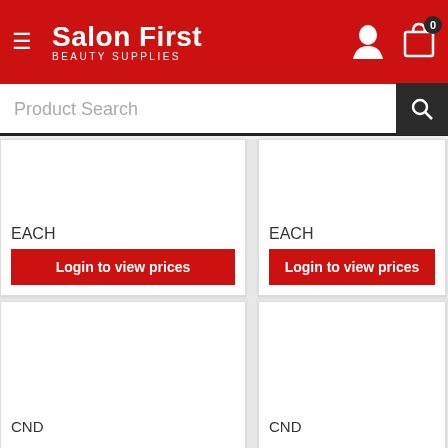Salon First Beauty Supplies
Product Search
EACH
Login to view prices
EACH
Login to view prices
CND
CND